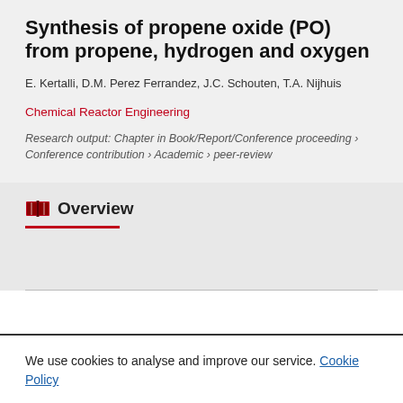Synthesis of propene oxide (PO) from propene, hydrogen and oxygen
E. Kertalli, D.M. Perez Ferrandez, J.C. Schouten, T.A. Nijhuis
Chemical Reactor Engineering
Research output: Chapter in Book/Report/Conference proceeding › Conference contribution › Academic › peer-review
Overview
We use cookies to analyse and improve our service. Cookie Policy